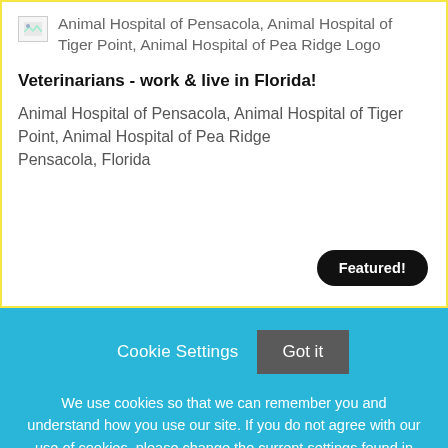[Figure (logo): Broken image placeholder icon for Animal Hospital of Pensacola, Animal Hospital of Tiger Point, Animal Hospital of Pea Ridge Logo]
Veterinarians - work & live in Florida!
Animal Hospital of Pensacola, Animal Hospital of Tiger Point, Animal Hospital of Pea Ridge Pensacola, Florida
Featured!
Cookie Settings
Got it
We use cookies so that we can remember you and understand how you use our site. If you do not agree with our use of cookies, please change the current settings found in our Cookie Policy. Otherwise, you agree to the use of the cookies as they are currently set.